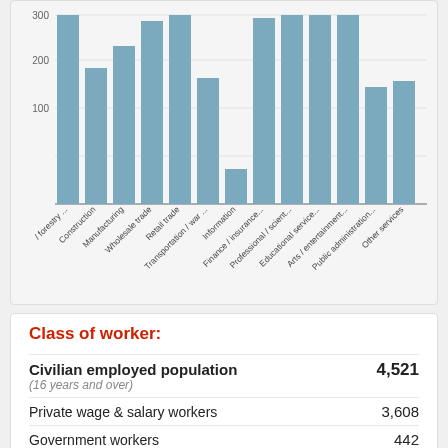[Figure (bar-chart): Industry employment]
Class of worker:
|  |  |
| --- | --- |
| Civilian employed population (16 years and over) | 4,521 |
| Private wage & salary workers | 3,608 |
| Government workers | 442 |
| Self-employed | 442 |